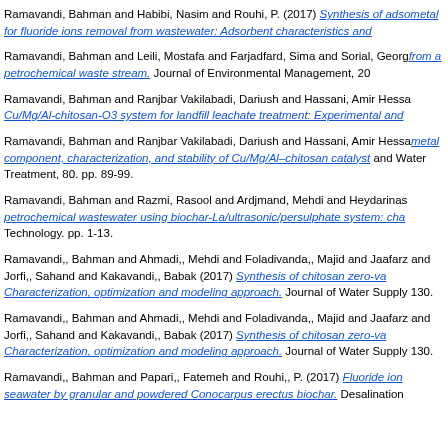Ramavandi, Bahman and Habibi, Nasim and Rouhi, P. (2017) Synthesis of adso... metal for fluoride ions removal from wastewater: Adsorbent characteristics and...
Ramavandi, Bahman and Leili, Mostafa and Farjadfard, Sima and Sorial, Georg... from a petrochemical waste stream. Journal of Environmental Management, 20...
Ramavandi, Bahman and Ranjbar Vakilabadi, Dariush and Hassani, Amir Hessa... Cu/Mg/Al-chitosan-O3 system for landfill leachate treatment: Experimental and...
Ramavandi, Bahman and Ranjbar Vakilabadi, Dariush and Hassani, Amir Hessa... metal component, characterization, and stability of Cu/Mg/Al–chitosan catalyst... and Water Treatment, 80. pp. 89-99.
Ramavandi, Bahman and Razmi, Rasool and Ardjmand, Mehdi and Heydarinas... petrochemical wastewater using biochar-La/ultrasonic/persulphate system: cha... Technology. pp. 1-13.
Ramavandi,, Bahman and Ahmadi,, Mehdi and Foladivanda,, Majid and Jaafarz... and Jorfi,, Sahand and Kakavandi,, Babak (2017) Synthesis of chitosan zero-va... Characterization, optimization and modeling approach. Journal of Water Supply... 130.
Ramavandi,, Bahman and Ahmadi,, Mehdi and Foladivanda,, Majid and Jaafarz... and Jorfi,, Sahand and Kakavandi,, Babak (2017) Synthesis of chitosan zero-va... Characterization, optimization and modeling approach. Journal of Water Supply... 130.
Ramavandi,, Bahman and Papari,, Fatemeh and Rouhi,, P. (2017) Fluoride ion... seawater by granular and powdered Conocarpus erectus biochar. Desalination...